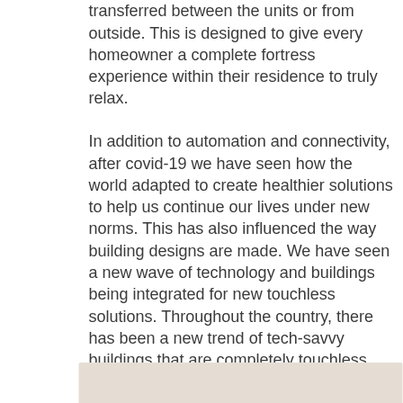transferred between the units or from outside. This is designed to give every homeowner a complete fortress experience within their residence to truly relax.
In addition to automation and connectivity, after covid-19 we have seen how the world adapted to create healthier solutions to help us continue our lives under new norms. This has also influenced the way building designs are made. We have seen a new wave of technology and buildings being integrated for new touchless solutions. Throughout the country, there has been a new trend of tech-savvy buildings that are completely touchless.
[Figure (photo): Partial view of a light beige/cream colored image at the bottom of the page]